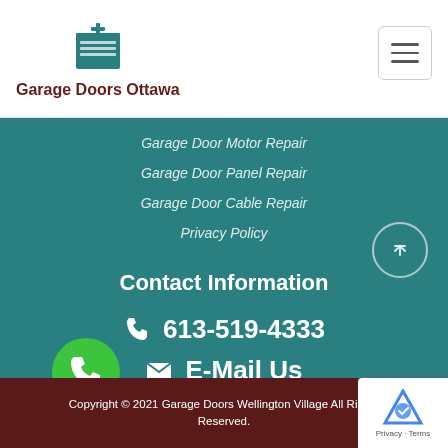Garage Doors Ottawa
Garage Door Motor Repair
Garage Door Panel Repair
Garage Door Cable Repair
Privacy Policy
Contact Information
613-519-4333
E-Mail Us
Copyright © 2021 Garage Doors Wellington Village All Rights Reserved.